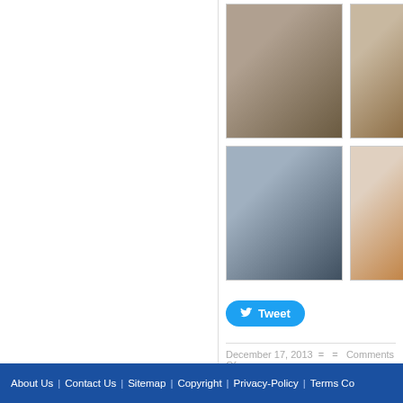[Figure (photo): Fireplace image top-left of right panel]
[Figure (photo): Fireplace image top-right of right panel (partially visible)]
[Figure (photo): Modern fireplace with bookshelves in background]
[Figure (photo): Egg-shaped white fireplace stove (partially visible)]
Tweet
December 17, 2013  =  =  Comments Of
Checking Account
Hotels
Home depot truck rental
About Us | Contact Us | Sitemap | Copyright | Privacy-Policy | Terms Co...